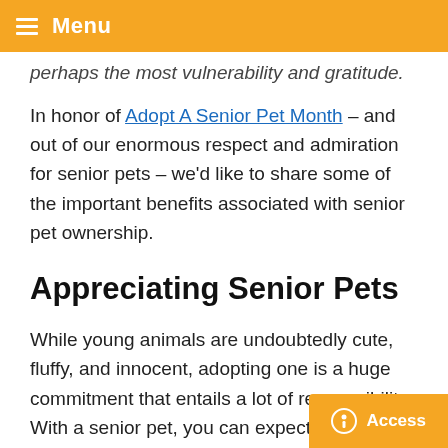☰ Menu
perhaps the most vulnerability and gratitude.
In honor of Adopt A Senior Pet Month – and out of our enormous respect and admiration for senior pets – we'd like to share some of the important benefits associated with senior pet ownership.
Appreciating Senior Pets
While young animals are undoubtedly cute, fluffy, and innocent, adopting one is a huge commitment that entails a lot of responsibility. With a senior pet, you can expect a more tempered and predictable companion – sweet, loving, and devoted friend…